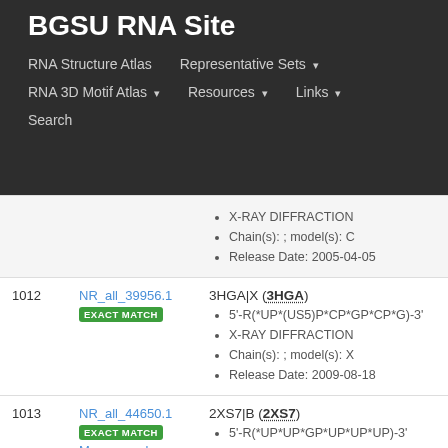BGSU RNA Site
RNA Structure Atlas | Representative Sets ▾ | RNA 3D Motif Atlas ▾ | Resources ▾ | Links ▾ | Search
| # | ID | Details |
| --- | --- | --- |
|  |  | X-RAY DIFFRACTION
Chain(s): ; model(s): C
Release Date: 2005-04-05 |
| 1012 | NR_all_39956.1 EXACT MATCH | 3HGA|X (3HGA)
5'-R(*UP*(US5)P*CP*GP*CP*G)-3'
X-RAY DIFFRACTION
Chain(s): ; model(s): X
Release Date: 2009-08-18 |
| 1013 | NR_all_44650.1 EXACT MATCH Mus musculus | 2XS7|B (2XS7)
5'-R(*UP*UP*GP*UP*UP*UP)-3'
X-RAY DIFFRACTION
Chain(s): ; model(s): B
Release Date: 2011-10-05 |